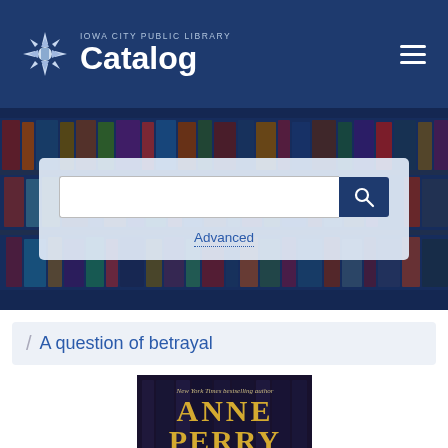IOWA CITY PUBLIC LIBRARY Catalog
[Figure (screenshot): Iowa City Public Library Catalog website header with logo and hamburger menu]
[Figure (screenshot): Search bar with Advanced link on a book-shelf background hero banner]
Advanced
A question of betrayal
[Figure (photo): Book cover showing 'New York Times bestselling author ANNE PERRY' text on a dark background with golden letters]